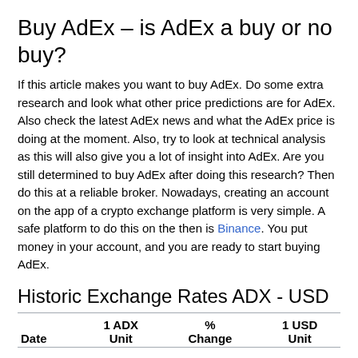Buy AdEx – is AdEx a buy or no buy?
If this article makes you want to buy AdEx. Do some extra research and look what other price predictions are for AdEx. Also check the latest AdEx news and what the AdEx price is doing at the moment. Also, try to look at technical analysis as this will also give you a lot of insight into AdEx. Are you still determined to buy AdEx after doing this research? Then do this at a reliable broker. Nowadays, creating an account on the app of a crypto exchange platform is very simple. A safe platform to do this on the then is Binance. You put money in your account, and you are ready to start buying AdEx.
Historic Exchange Rates ADX - USD
| Date | 1 ADX Unit | % Change | 1 USD Unit |
| --- | --- | --- | --- |